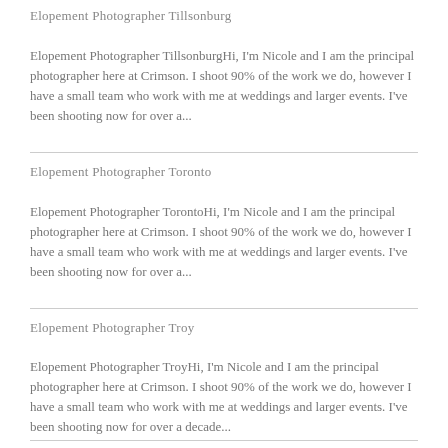Elopement Photographer Tillsonburg
Elopement Photographer TillsonburgHi, I'm Nicole and I am the principal photographer here at Crimson. I shoot 90% of the work we do, however I have a small team who work with me at weddings and larger events. I've been shooting now for over a...
Elopement Photographer Toronto
Elopement Photographer TorontoHi, I'm Nicole and I am the principal photographer here at Crimson. I shoot 90% of the work we do, however I have a small team who work with me at weddings and larger events. I've been shooting now for over a...
Elopement Photographer Troy
Elopement Photographer TroyHi, I'm Nicole and I am the principal photographer here at Crimson. I shoot 90% of the work we do, however I have a small team who work with me at weddings and larger events. I've been shooting now for over a decade...